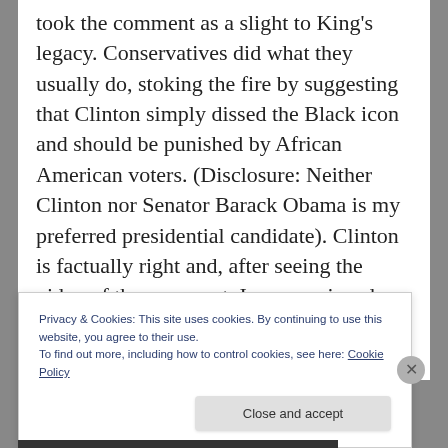took the comment as a slight to King's legacy. Conservatives did what they usually do, stoking the fire by suggesting that Clinton simply dissed the Black icon and should be punished by African American voters. (Disclosure: Neither Clinton nor Senator Barack Obama is my preferred presidential candidate). Clinton is factually right and, after seeing the video of the comment, I am convinced that she met no disrespect to King's
Privacy & Cookies: This site uses cookies. By continuing to use this website, you agree to their use.
To find out more, including how to control cookies, see here: Cookie Policy